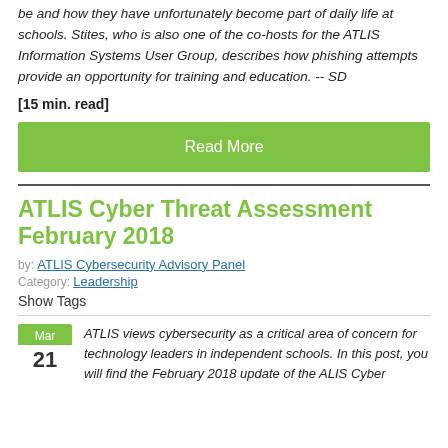be and how they have unfortunately become part of daily life at schools. Stites, who is also one of the co-hosts for the ATLIS Information Systems User Group, describes how phishing attempts provide an opportunity for training and education. -- SD
[15 min. read]
[Figure (other): Green 'Read More' button]
ATLIS Cyber Threat Assessment February 2018
by: ATLIS Cybersecurity Advisory Panel
Category: Leadership
Show Tags
ATLIS views cybersecurity as a critical area of concern for technology leaders in independent schools. In this post, you will find the February 2018 update of the ALIS Cyber